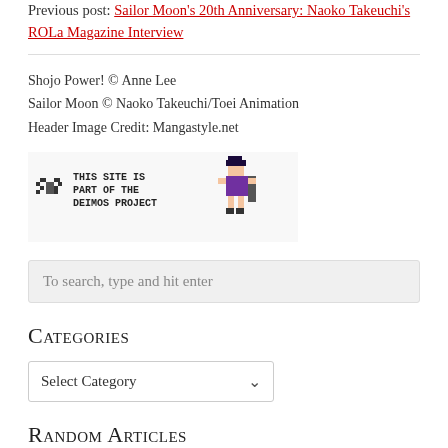Previous post: Sailor Moon's 20th Anniversary: Naoko Takeuchi's ROLa Magazine Interview
Shojo Power! © Anne Lee
Sailor Moon © Naoko Takeuchi/Toei Animation
Header Image Credit: Mangastyle.net
[Figure (illustration): Pixel art badge reading 'This site is part of the Deimos Project' with a pixel art character]
To search, type and hit enter
Categories
Select Category
Random Articles